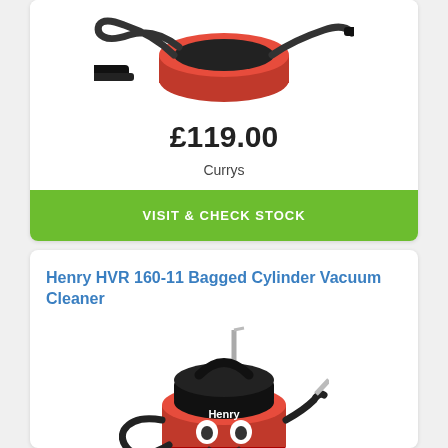[Figure (photo): Partial top view of a cylinder vacuum cleaner with hose and floor attachment]
£119.00
Currys
VISIT & CHECK STOCK
Henry HVR 160-11 Bagged Cylinder Vacuum Cleaner
[Figure (photo): Henry HVR 160-11 red bagged cylinder vacuum cleaner with smiley face, black top, hose, and silver wand]